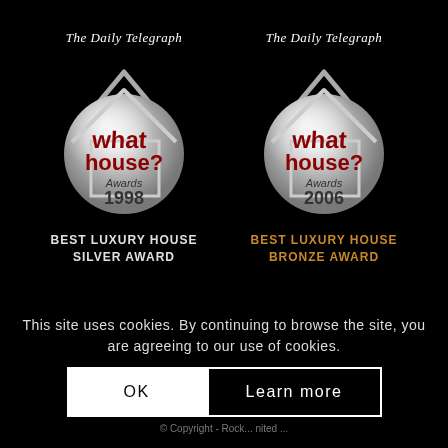[Figure (logo): Two What House? Awards badges from The Daily Telegraph. Left badge: Awards 1998 - Best Luxury House Silver Award. Right badge: Awards 2006 - Best Luxury House Bronze Award.]
This site uses cookies. By continuing to browse the site, you are agreeing to our use of cookies.
OK
Learn more
© Copyright - Rock... nited ...